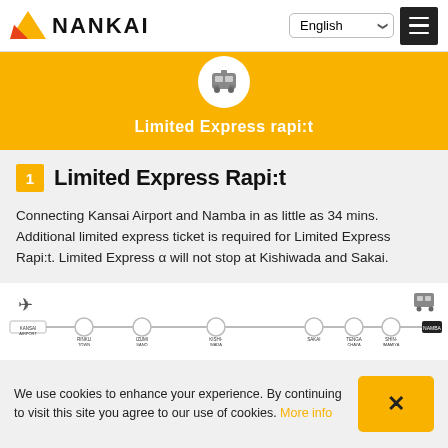NANKAI
Limited Express rapi:t
1 Limited Express Rapi:t
Connecting Kansai Airport and Namba in as little as 34 mins. Additional limited express ticket is required for Limited Express Rapi:t. Limited Express α will not stop at Kishiwada and Sakai.
[Figure (infographic): Route diagram showing stops: Kansai Airport, Rinku Town, Izumi Sano, Kishiwada, Sakai, Tengachaya, Shin-Imamiya, Namba]
We use cookies to enhance your experience. By continuing to visit this site you agree to our use of cookies. More info